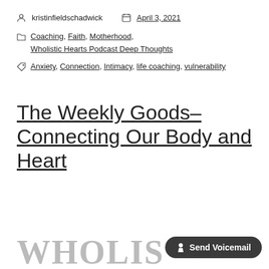kristinfieldschadwick    April 3, 2021
Coaching, Faith, Motherhood, Wholistic Hearts Podcast Deep Thoughts
Anxiety, Connection, Intimacy, life coaching, vulnerability
The Weekly Goods– Connecting Our Body and Heart
WHOLIS
Send Voicemail